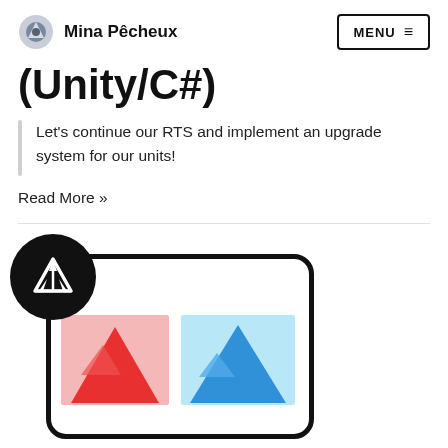Mina Pêcheux  MENU ≡
(Unity/C#)
Let's continue our RTS and implement an upgrade system for our units!
Read More »
[Figure (illustration): A card UI mockup with a black circular Unity logo badge overlapping the top-left corner, and two image placeholder thumbnails inside the card — one with a red/pink mountain scene and one with a blue mountain scene.]